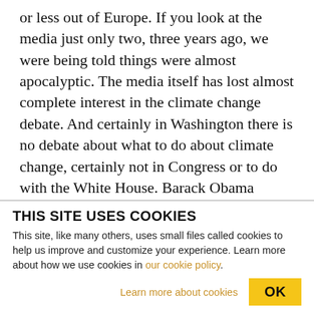or less out of Europe. If you look at the media just only two, three years ago, we were being told things were almost apocalyptic. The media itself has lost almost complete interest in the climate change debate. And certainly in Washington there is no debate about what to do about climate change, certainly not in Congress or to do with the White House. Barack Obama doesn't seem to have mentioned the words climate change in at least a year, if not more. Now joining us to talk about why all this might be happening is Patrick Bond. Patrick is the director of
THIS SITE USES COOKIES
This site, like many others, uses small files called cookies to help us improve and customize your experience. Learn more about how we use cookies in our cookie policy.
Learn more about cookies    OK